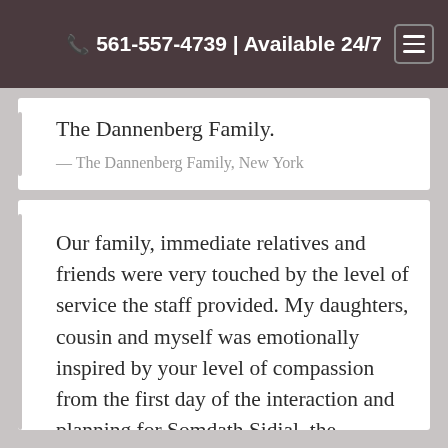📞 561-557-4739 | Available 24/7
The Dannenberg Family.
— The Dannenberg Family, New York
Our family, immediate relatives and friends were very touched by the level of service the staff provided. My daughters, cousin and myself was emotionally inspired by your level of compassion from the first day of the interaction and planning for Somdath Sidial, the deceased. I am personally proud of the work the director and staff displayed. I